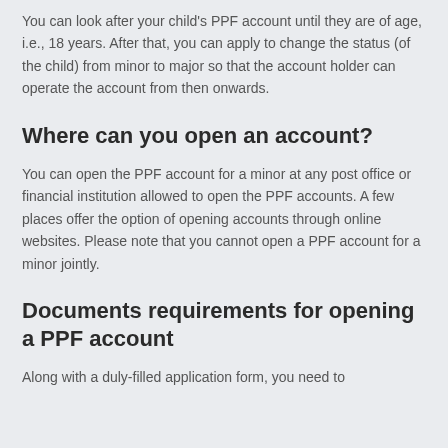You can look after your child's PPF account until they are of age, i.e., 18 years. After that, you can apply to change the status (of the child) from minor to major so that the account holder can operate the account from then onwards.
Where can you open an account?
You can open the PPF account for a minor at any post office or financial institution allowed to open the PPF accounts. A few places offer the option of opening accounts through online websites. Please note that you cannot open a PPF account for a minor jointly.
Documents requirements for opening a PPF account
Along with a duly-filled application form, you need to